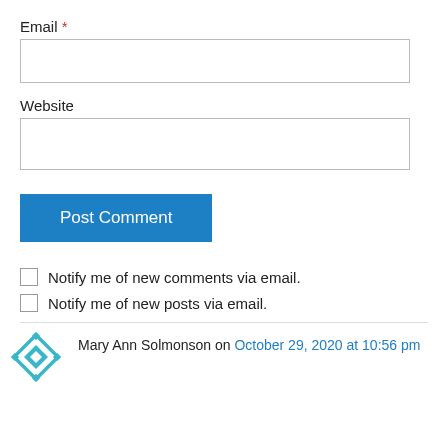Email *
[Figure (other): Empty email text input field with light grey border]
Website
[Figure (other): Empty website text input field with light grey border]
[Figure (other): Blue 'Post Comment' button]
Notify me of new comments via email.
Notify me of new posts via email.
Mary Ann Solmonson on October 29, 2020 at 10:56 pm